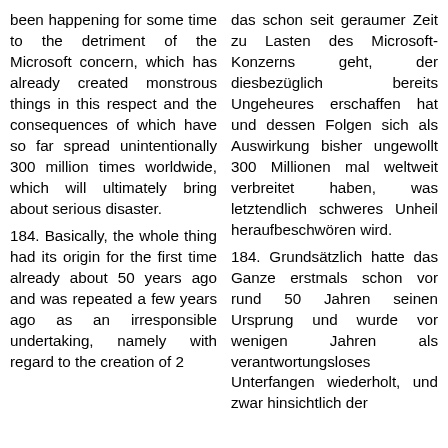been happening for some time to the detriment of the Microsoft concern, which has already created monstrous things in this respect and the consequences of which have so far spread unintentionally 300 million times worldwide, which will ultimately bring about serious disaster.
184. Basically, the whole thing had its origin for the first time already about 50 years ago and was repeated a few years ago as an irresponsible undertaking, namely with regard to the creation of 2
das schon seit geraumer Zeit zu Lasten des Microsoft-Konzerns geht, der diesbezüglich bereits Ungeheures erschaffen hat und dessen Folgen sich als Auswirkung bisher ungewollt 300 Millionen mal weltweit verbreitet haben, was letztendlich schweres Unheil heraufbeschwören wird.
184. Grundsätzlich hatte das Ganze erstmals schon vor rund 50 Jahren seinen Ursprung und wurde vor wenigen Jahren als verantwortungsloses Unterfangen wiederholt, und zwar hinsichtlich der